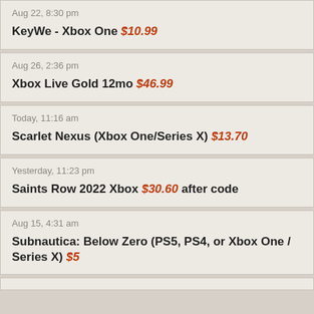Aug 22, 8:30 pm
KeyWe - Xbox One $10.99
Aug 26, 2:36 pm
Xbox Live Gold 12mo $46.99
Today, 11:16 am
Scarlet Nexus (Xbox One/Series X) $13.70
Yesterday, 11:23 pm
Saints Row 2022 Xbox $30.60 after code
Aug 15, 4:31 am
Subnautica: Below Zero (PS5, PS4, or Xbox One / Series X) $5